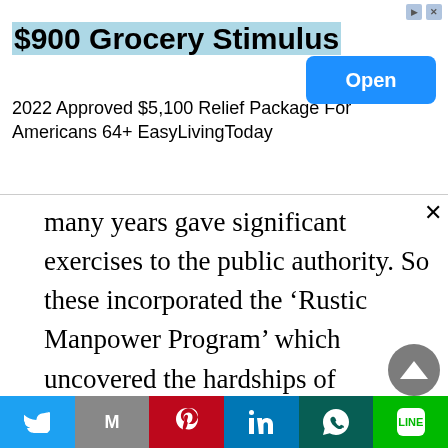[Figure (screenshot): Advertisement banner: '$900 Grocery Stimulus' with subtitle '2022 Approved $5,100 Relief Package For Americans 64+ EasyLivingToday' and a blue 'Open' button]
many years gave significant exercises to the public authority. So these incorporated the ‘Rustic Manpower Program’ which uncovered the hardships of monetary administration, the ‘Crash Scheme for Rural Employment’ on anticipating results, a ‘Pilot Intensive Rural Employment Program’ of work escalated works, the ‘Dry spell Prone Area Program’ of the incorporated provincial turn of events, ‘Negligible Farmers and Agricultural Laborers Scheme’ of the country financial turn of events, the ‘Nourishment for Work Program’ (FWP)
[Figure (screenshot): Social share bar with Twitter, Gmail, Pinterest, LinkedIn, WhatsApp, and Line buttons]